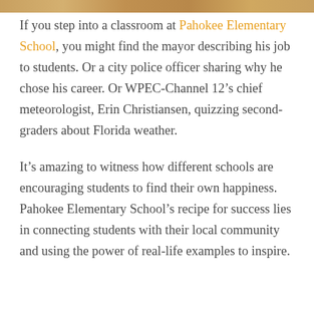[Figure (photo): Partial image strip visible at top of page, showing a colorful classroom or event photo cropped to a narrow horizontal band.]
If you step into a classroom at Pahokee Elementary School, you might find the mayor describing his job to students. Or a city police officer sharing why he chose his career. Or WPEC-Channel 12’s chief meteorologist, Erin Christiansen, quizzing second-graders about Florida weather.
It’s amazing to witness how different schools are encouraging students to find their own happiness. Pahokee Elementary School’s recipe for success lies in connecting students with their local community and using the power of real-life examples to inspire.